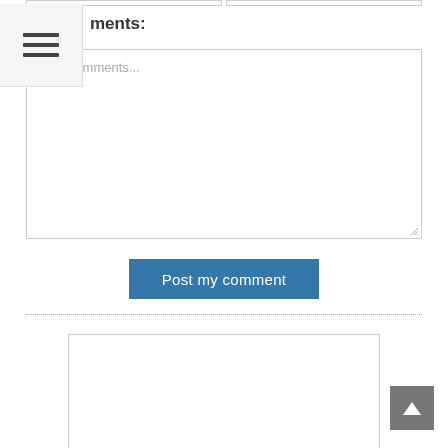ments:
[Figure (screenshot): A web form section showing a comments textarea with placeholder text 'Your comments...', a 'Post my comment' blue button, a dotted horizontal divider, and a white card below, plus a scroll-to-top button in the bottom right corner. A hamburger menu icon appears in the top left.]